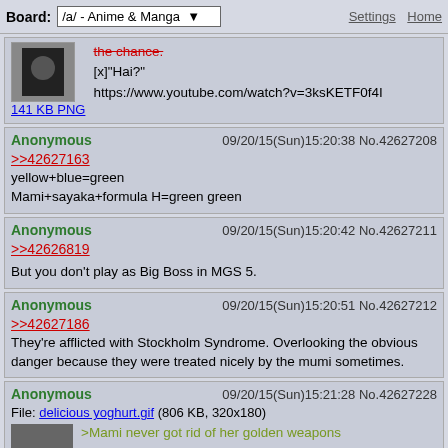Board: /a/ - Anime & Manga   Settings  Home
141 KB PNG
[x]"Hai?"
https://www.youtube.com/watch?v=3ksKETF0f4I
Anonymous  09/20/15(Sun)15:20:38  No.42627208
>>42627163
yellow+blue=green
Mami+sayaka+formula H=green green
Anonymous  09/20/15(Sun)15:20:42  No.42627211
>>42626819
But you don't play as Big Boss in MGS 5.
Anonymous  09/20/15(Sun)15:20:51  No.42627212
>>42627186
They're afflicted with Stockholm Syndrome. Overlooking the obvious danger because they were treated nicely by the mumi sometimes.
Anonymous  09/20/15(Sun)15:21:28  No.42627228
File: delicious yoghurt.gif (806 KB, 320x180)
>Mami never got rid of her golden weapons